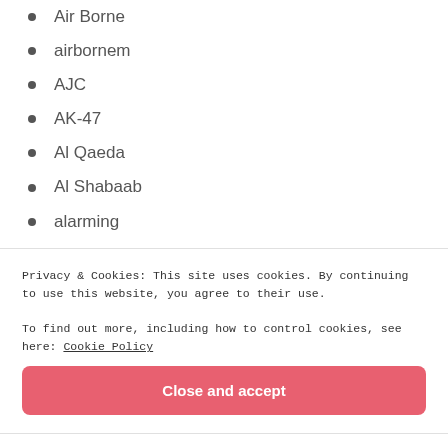Air Borne
airbornem
AJC
AK-47
Al Qaeda
Al Shabaab
alarming
Alaska
Alaska Marine Science
Alert
Alerts
Privacy & Cookies: This site uses cookies. By continuing to use this website, you agree to their use.
To find out more, including how to control cookies, see here: Cookie Policy
Close and accept